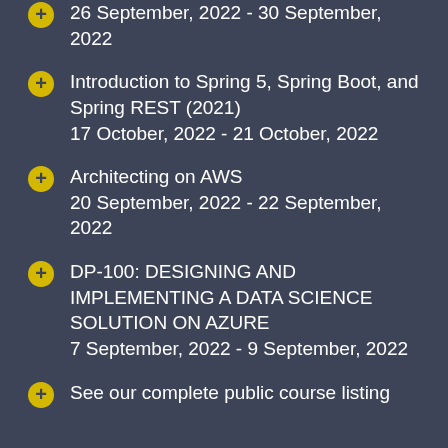26 September, 2022 - 30 September, 2022
Introduction to Spring 5, Spring Boot, and Spring REST (2021) 17 October, 2022 - 21 October, 2022
Architecting on AWS 20 September, 2022 - 22 September, 2022
DP-100: DESIGNING AND IMPLEMENTING A DATA SCIENCE SOLUTION ON AZURE 7 September, 2022 - 9 September, 2022
See our complete public course listing